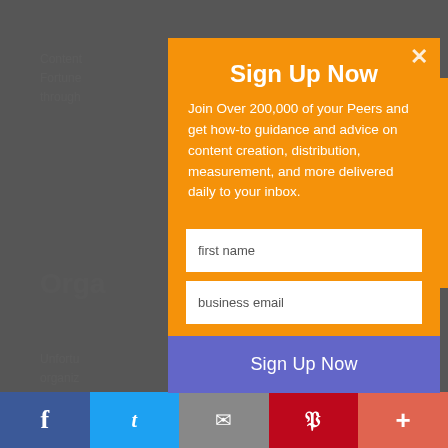[Figure (screenshot): Background webpage content partially visible behind modal overlay, showing grey dimmed article text and section header starting with 'Orga']
Sign Up Now
Join Over 200,000 of your Peers and get how-to guidance and advice on content creation, distribution, measurement, and more delivered daily to your inbox.
first name
business email
Sign Up Now
Recommended for you